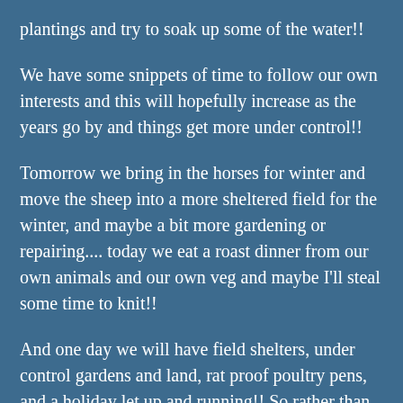plantings and try to soak up some of the water!!
We have some snippets of time to follow our own interests and this will hopefully increase as the years go by and things get more under control!!
Tomorrow we bring in the horses for winter and move the sheep into a more sheltered field for the winter, and maybe a bit more gardening or repairing.... today we eat a roast dinner from our own animals and our own veg and maybe I'll steal some time to knit!!
And one day we will have field shelters, under control gardens and land, rat proof poultry pens, and a holiday let up and running!! So rather than living the dream more working towards or on the dream!! 😁